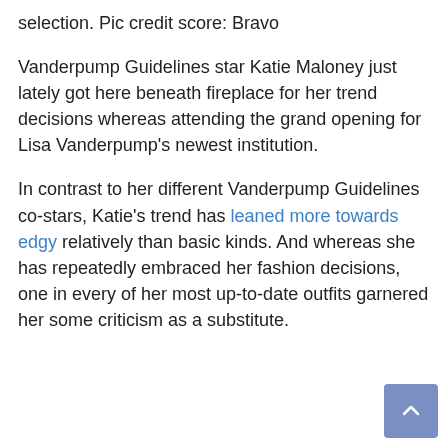selection. Pic credit score: Bravo
Vanderpump Guidelines star Katie Maloney just lately got here beneath fireplace for her trend decisions whereas attending the grand opening for Lisa Vanderpump’s newest institution.
In contrast to her different Vanderpump Guidelines co-stars, Katie’s trend has leaned more towards edgy relatively than basic kinds. And whereas she has repeatedly embraced her fashion decisions, one in every of her most up-to-date outfits garnered her some criticism as a substitute.